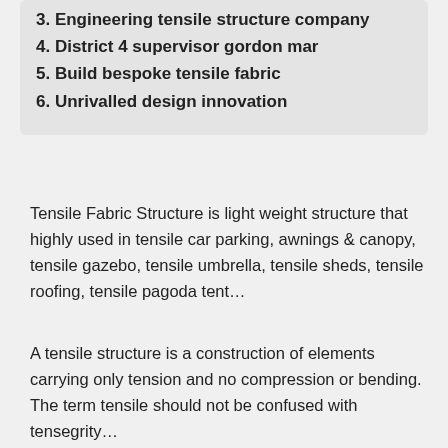3. Engineering tensile structure company
4. District 4 supervisor gordon mar
5. Build bespoke tensile fabric
6. Unrivalled design innovation
Tensile Fabric Structure is light weight structure that highly used in tensile car parking, awnings & canopy, tensile gazebo, tensile umbrella, tensile sheds, tensile roofing, tensile pagoda tent…
A tensile structure is a construction of elements carrying only tension and no compression or bending. The term tensile should not be confused with tensegrity…
[Figure (photo): Architectural rendering of a tensile membrane structure with triangular white fabric panels and small green tree figures on a dark circular base, with red leaf-like elements scattered around]
Tensile Structure Systems is a boutique firm in the Tensile Membrane Structure Industry,